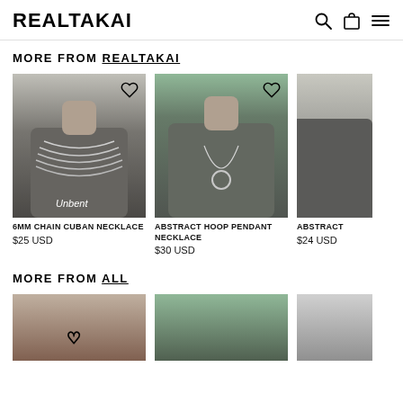REALTAKAI
MORE FROM REALTAKAI
[Figure (photo): Person wearing layered silver chain Cuban necklaces on dark grey t-shirt with 'Unbent' text]
6MM CHAIN CUBAN NECKLACE
$25 USD
[Figure (photo): Person wearing abstract hoop pendant necklace on dark grey t-shirt]
ABSTRACT HOOP PENDANT NECKLACE
$30 USD
[Figure (photo): Partial view of third product]
ABSTRACT
$24 USD
MORE FROM ALL
[Figure (photo): Bottom row product image 1]
[Figure (photo): Bottom row product image 2]
[Figure (photo): Bottom row product image 3 (partial)]